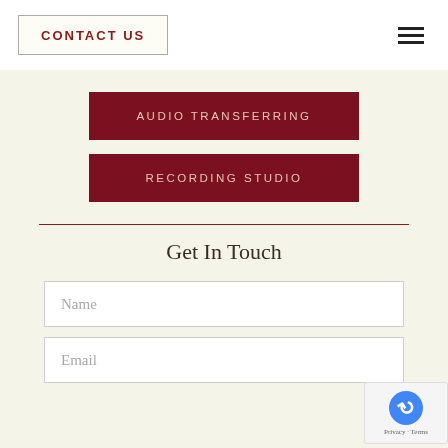CONTACT US
AUDIO TRANSFERRING
RECORDING STUDIO
Get In Touch
Name
Email